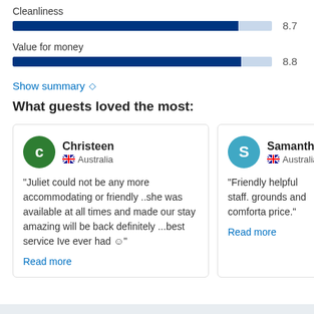Cleanliness
[Figure (bar-chart): Cleanliness]
Value for money
[Figure (bar-chart): Value for money]
Show summary ◇
What guests loved the most:
Christeen
Australia
"Juliet could not be any more accommodating or friendly ..she was available at all times and made our stay amazing will be back definitely ...best service Ive ever had ☺"
Read more
Samantha
Australia
"Friendly helpful staff. grounds and comfortable price."
Read more